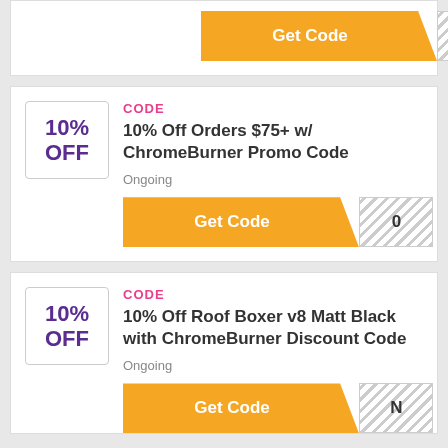[Figure (screenshot): Partial coupon card at top showing Get Code button with orange background and hatched code area showing '0']
CODE
10% OFF
10% Off Orders $75+ w/ ChromeBurner Promo Code
Ongoing
[Figure (screenshot): Get Code button with orange background and hatched code area showing '0']
CODE
10% OFF
10% Off Roof Boxer v8 Matt Black with ChromeBurner Discount Code
Ongoing
[Figure (screenshot): Get Code button with orange background and hatched code area showing 'N']